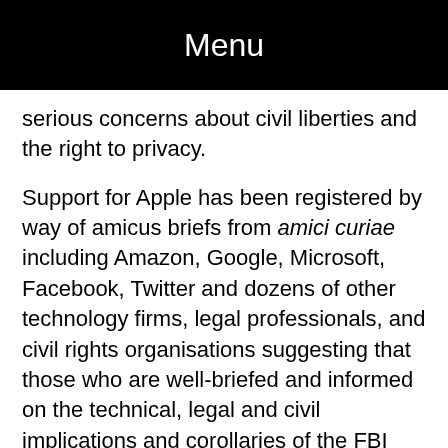Menu
serious concerns about civil liberties and the right to privacy.
Support for Apple has been registered by way of amicus briefs from amici curiae including Amazon, Google, Microsoft, Facebook, Twitter and dozens of other technology firms, legal professionals, and civil rights organisations suggesting that those who are well-briefed and informed on the technical, legal and civil implications and corollaries of the FBI request are staunchly of the view that